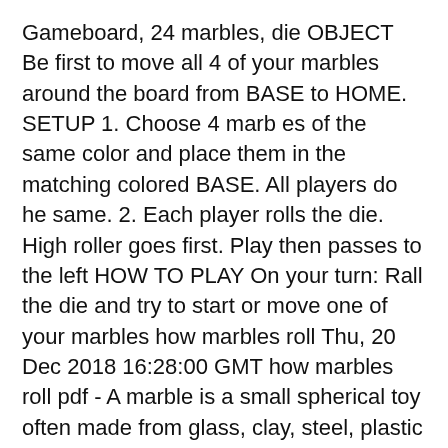Gameboard, 24 marbles, die OBJECT Be first to move all 4 of your marbles around the board from BASE to HOME. SETUP 1. Choose 4 marb es of the same color and place them in the matching colored BASE. All players do he same. 2. Each player rolls the die. High roller goes first. Play then passes to the left HOW TO PLAY On your turn: Rall the die and try to start or move one of your marbles how marbles roll Thu, 20 Dec 2018 16:28:00 GMT how marbles roll pdf - A marble is a small spherical toy often made from glass, clay, steel, plastic or agate.These balls
Tell your kids to be clear on the rules about taking marbles before they play